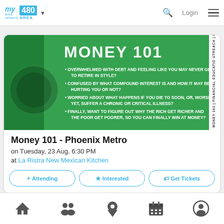my area network | 480 AREA | Login
[Figure (infographic): Money 101 financial education event banner with green overlay on money background. Bullet points: OVERWHELMED WITH DEBT AND FEELING LIKE YOU MAY NEVER GET TO RETIRE IN STYLE? CONFUSED BY WHAT COMPOUND INTEREST IS AND HOW IT MAY BE HURTING YOU OR NOT? WORRIED ABOUT WHAT HAPPENS IF YOU DIE TO SOON, OR, WORSE YET, SUFFER A CHRONIC OR CRITICAL ILLNESS? FINALLY, WANT TO FIGURE OUT WHY THE RICH GET RICHER AND THE POOR GET POORER, SO YOU CAN FINALLY WIN AT MONEY? Sidebar text: MONEY 101 | FINANCIAL EDUCATIO UTREACH | RSVP & INVITE FRIENI]
Money 101 - Phoenix Metro
on Tuesday, 23 Aug, 6:30 PM
at La Ristra New Mexican Kitchen
+ Attending   ★ Interested   🏷 Get Tickets
Home | People | Location | Calendar | Profile